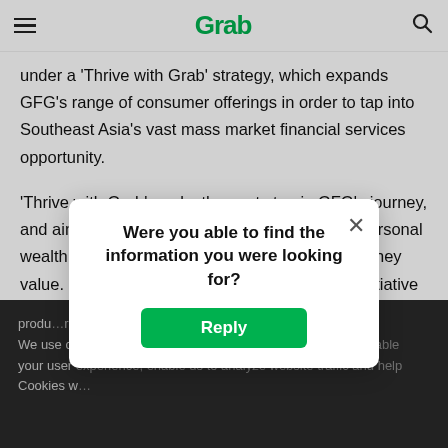Grab | GrabInvest – navigation bar with hamburger menu, Grab logo, and search icon
under a 'Thrive with Grab' strategy, which expands GFG's range of consumer offerings in order to tap into Southeast Asia's vast mass market financial services opportunity.
'Thrive with Grab' marks the next step in GFG's journey, and aims to empower individuals to grow their personal wealth, manage their finances and protect what they value. Building on last year's 'Grow with Grab' initiative where GFG's merchant financial services ecosystem was born, 'Thrive with Grab' vastly expands GFG's consumer ecosystem by launching new lending, wealth and insurance products…
We use cookies to enable better features on our website. Cookies help improve your user experience, enable us to analyze website traffic and help us understand how our Cookies w…